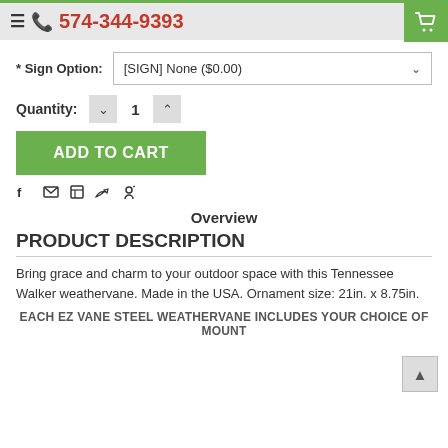574-344-9393
* Sign Option: [SIGN] None ($0.00)
Quantity: 1
ADD TO CART
Overview
PRODUCT DESCRIPTION
Bring grace and charm to your outdoor space with this Tennessee Walker weathervane. Made in the USA. Ornament size: 21in. x 8.75in.
EACH EZ VANE STEEL WEATHERVANE INCLUDES YOUR CHOICE OF MOUNT